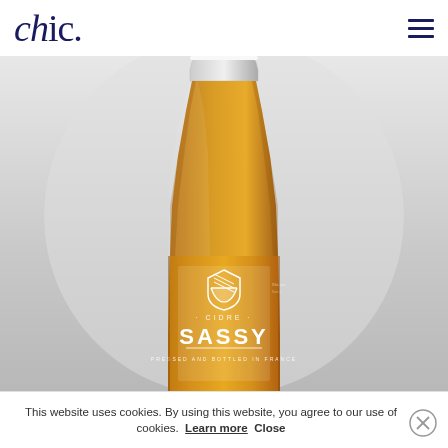chic.
[Figure (photo): A tall slender glass bottle of Sassy Cidre against a light grey gradient background. The bottle is filled with golden amber liquid. The label reads 'SASSY' in large white letters with a shield logo above and 'CIDRE' text. Small text reads 'PRESSED AND BOTTLED IN FRANCE'.]
This website uses cookies. By using this website, you agree to our use of cookies. Learn more Close